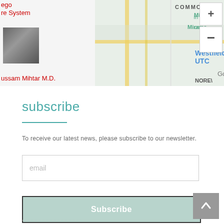[Figure (map): Google Maps screenshot showing Westfield UTC location with map pin, Miramar Commons label, zoom controls (+/-), and a doctor profile photo panel on the left with name 'ussam Mihtar M.D.' and red 'ego re System' text]
subscribe
To receive our latest news, please subscribe to our newsletter.
email (input field placeholder)
Subscribe (button)